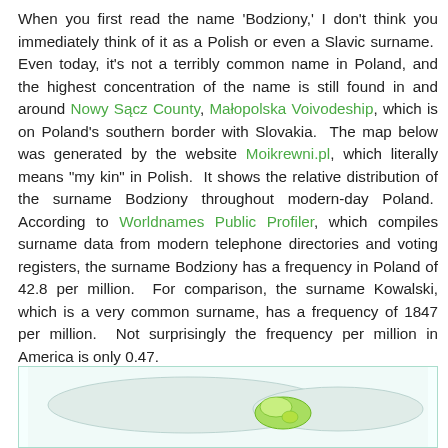When you first read the name 'Bodziony,' I don't think you immediately think of it as a Polish or even a Slavic surname. Even today, it's not a terribly common name in Poland, and the highest concentration of the name is still found in and around Nowy Sącz County, Małopolska Voivodeship, which is on Poland's southern border with Slovakia. The map below was generated by the website Moikrewni.pl, which literally means "my kin" in Polish. It shows the relative distribution of the surname Bodziony throughout modern-day Poland. According to Worldnames Public Profiler, which compiles surname data from modern telephone directories and voting registers, the surname Bodziony has a frequency in Poland of 42.8 per million. For comparison, the surname Kowalski, which is a very common surname, has a frequency of 1847 per million. Not surprisingly the frequency per million in America is only 0.47.
[Figure (map): Partial map of Poland showing distribution of the Bodziony surname, with a highlighted region in green near Nowy Sącz County in southern Poland. Map has a light teal border.]